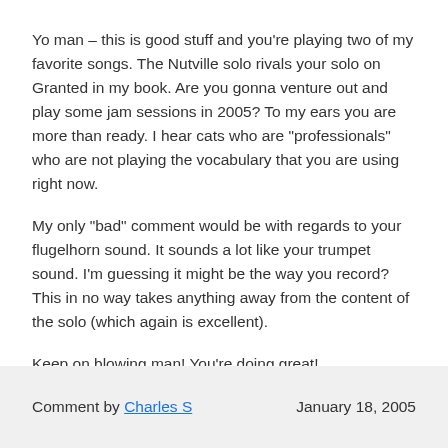Yo man – this is good stuff and you're playing two of my favorite songs. The Nutville solo rivals your solo on Granted in my book. Are you gonna venture out and play some jam sessions in 2005? To my ears you are more than ready. I hear cats who are "professionals" who are not playing the vocabulary that you are using right now.
My only "bad" comment would be with regards to your flugelhorn sound. It sounds a lot like your trumpet sound. I'm guessing it might be the way you record? This in no way takes anything away from the content of the solo (which again is excellent).
Keep on blowing man! You're doing great!
Comment by Charles S    January 18, 2005